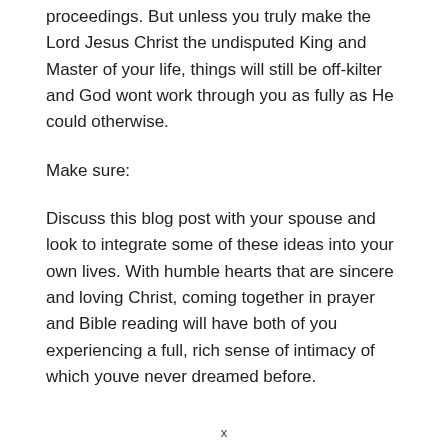proceedings. But unless you truly make the Lord Jesus Christ the undisputed King and Master of your life, things will still be off-kilter and God wont work through you as fully as He could otherwise.
Make sure:
Discuss this blog post with your spouse and look to integrate some of these ideas into your own lives. With humble hearts that are sincere and loving Christ, coming together in prayer and Bible reading will have both of you experiencing a full, rich sense of intimacy of which youve never dreamed before.
x